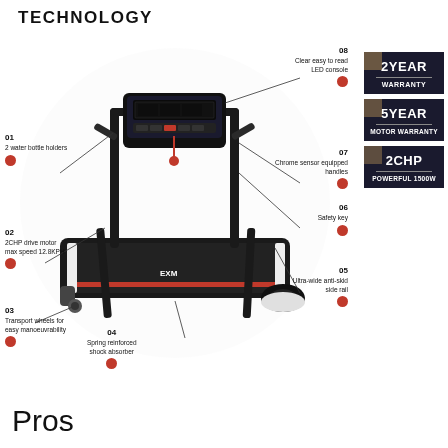TECHNOLOGY
[Figure (infographic): Treadmill diagram with 8 numbered callouts pointing to features: 01 - 2 water bottle holders, 02 - 2CHP drive motor max speed 12.8KPH, 03 - Transport wheels for easy manoeuvrability, 04 - Spring reinforced shock absorber, 05 - Ultra-wide anti-skid side rail, 06 - Safety key, 07 - Chrome sensor equipped handles, 08 - Clear easy to read LED console]
08
Clear easy to read LED console
01
2 water bottle holders
07
Chrome sensor equipped handles
06
Safety key
02
2CHP drive motor max speed 12.8KPH
05
Ultra-wide anti-skid side rail
03
Transport wheels for easy manoeuvrability
04
Spring reinforced shock absorber
2YEAR WARRANTY
5YEAR MOTOR WARRANTY
2CHP POWERFUL 1500W
Pros